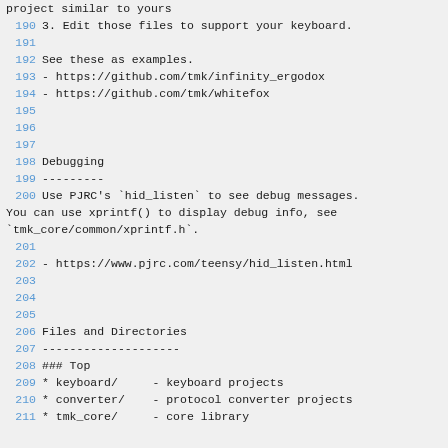project similar to yours
190 3. Edit those files to support your keyboard.
191
192 See these as examples.
193 - https://github.com/tmk/infinity_ergodox
194 - https://github.com/tmk/whitefox
195
196
197
198 Debugging
199 ---------
200 Use PJRC's `hid_listen` to see debug messages. You can use xprintf() to display debug info, see `tmk_core/common/xprintf.h`.
201
202 - https://www.pjrc.com/teensy/hid_listen.html
203
204
205
206 Files and Directories
207 --------------------
208 ### Top
209 * keyboard/    - keyboard projects
210 * converter/    - protocol converter projects
211 * tmk_core/     - core library